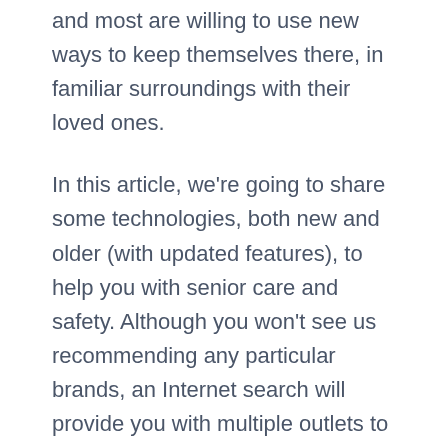and most are willing to use new ways to keep themselves there, in familiar surroundings with their loved ones.
In this article, we're going to share some technologies, both new and older (with updated features), to help you with senior care and safety. Although you won't see us recommending any particular brands, an Internet search will provide you with multiple outlets to purchase or rent what you're looking for.
Traditional and Mobile Personal Response